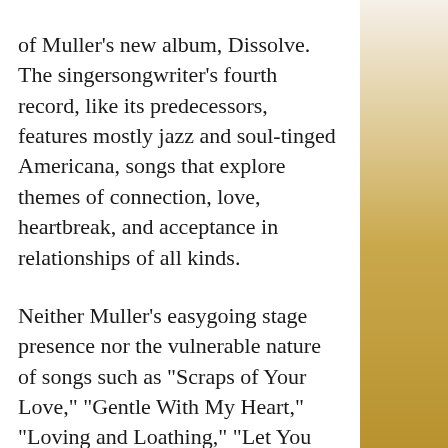of Muller's new album, Dissolve. The singersongwriter's fourth record, like its predecessors, features mostly jazz and soul-tinged Americana, songs that explore themes of connection, love, heartbreak, and acceptance in relationships of all kinds.

Neither Muller's easygoing stage presence nor the vulnerable nature of songs such as "Scraps of Your Love," "Gentle With My Heart," "Loving and Loathing," "Let You In," and "Kindred Soul" hint at his day job as a pioneering and highly successful hedge fund creator who brought cutting-edge quantitative analysis to the New York finance world in the early 1990s when he created an innovative proprietary